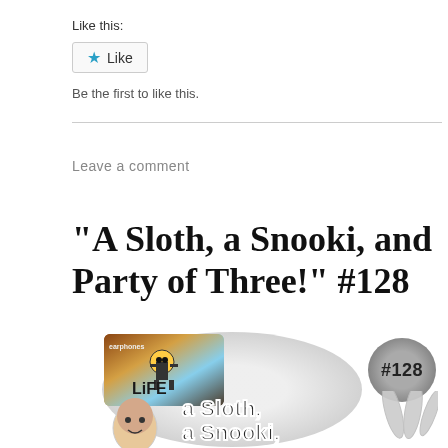Like this:
★ Like
Be the first to like this.
Leave a comment
“A Sloth, a Snooki, and Party of Three!” #128
[Figure (illustration): Podcast thumbnail for episode #128 titled 'A Sloth, a Snooki, and Party of Three!' showing a logo with a figure wearing sunglasses and the text 'a Sloth, a Snooki,' with a grey badge showing #128 and illustrated hands on the right side against a light oval background.]